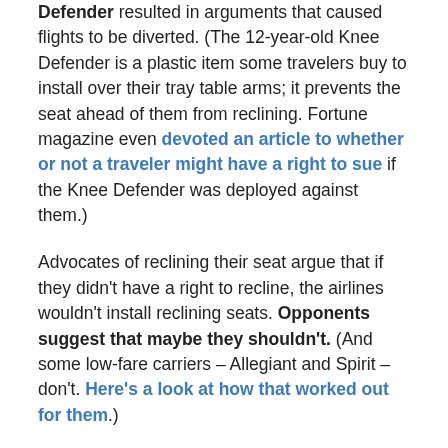Defender resulted in arguments that caused flights to be diverted. (The 12-year-old Knee Defender is a plastic item some travelers buy to install over their tray table arms; it prevents the seat ahead of them from reclining. Fortune magazine even devoted an article to whether or not a traveler might have a right to sue if the Knee Defender was deployed against them.)
Advocates of reclining their seat argue that if they didn't have a right to recline, the airlines wouldn't install reclining seats. Opponents suggest that maybe they shouldn't. (And some low-fare carriers – Allegiant and Spirit – don't. Here's a look at how that worked out for them.)
Anyway, following is a summary of reader comments about the pros and cons of seat reclining. What about YOU? Please leave your comments below…
“I never ever recline. I’m 6’3” and when someone reclines it seriously hurts me. I know that the chairs recline, but